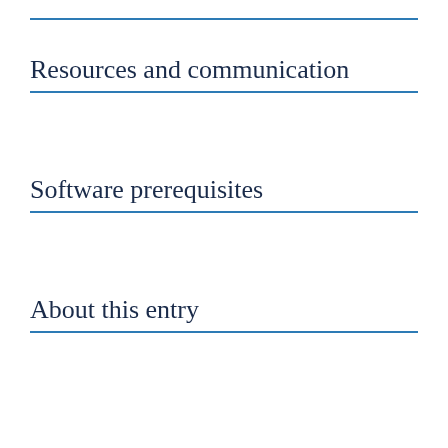Resources and communication
Software prerequisites
About this entry